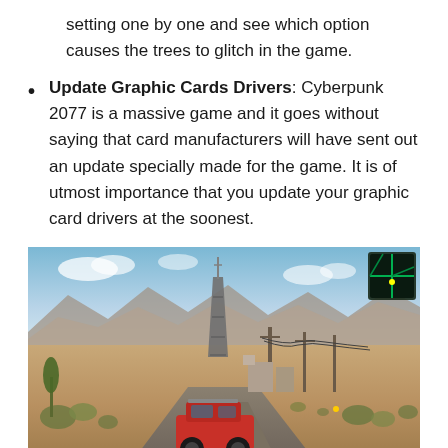setting one by one and see which option causes the trees to glitch in the game.
Update Graphic Cards Drivers: Cyberpunk 2077 is a massive game and it goes without saying that card manufacturers will have sent out an update specially made for the game. It is of utmost importance that you update your graphic card drivers at the soonest.
[Figure (screenshot): Cyberpunk 2077 gameplay screenshot showing a desert/wasteland environment with a red off-road vehicle in the foreground, a communications tower and utility poles in the background, sparse desert vegetation, blue sky with clouds, and a minimap in the upper-right corner.]